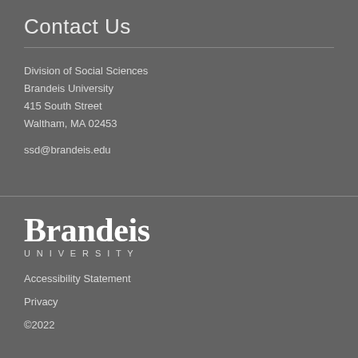Contact Us
Division of Social Sciences
Brandeis University
415 South Street
Waltham, MA 02453
ssd@brandeis.edu
[Figure (logo): Brandeis University logo with large serif 'Brandeis' text and 'UNIVERSITY' in small caps beneath]
Accessibility Statement
Privacy
©2022